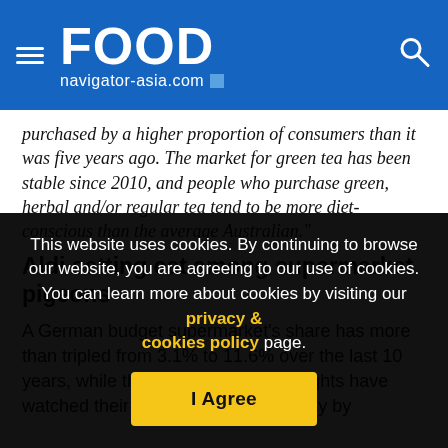FOOD navigator-asia.com
purchased by a higher proportion of consumers than it was five years ago. The market for green tea has been stable since 2010, and people who purchase green, herbal and/or regular tea tend to be more diet-conscious than the average Australian."
Aldi setting cat among supermarket pigeons
A German budget supermarket's share has more than tripled from 3.1% to 11.6% over the last 10 years, while the traditional heavyweights have watched their decrease, another study by
This website uses cookies. By continuing to browse our website, you are agreeing to our use of cookies. You can learn more about cookies by visiting our privacy & cookies policy page.